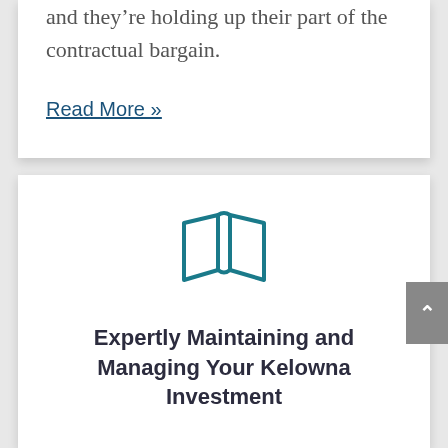and they're holding up their part of the contractual bargain.
Read More »
[Figure (illustration): Map/book open icon outline in teal color]
Expertly Maintaining and Managing Your Kelowna Investment
Maintenance is a requirement at every rental property, and although it's an initial expense, a well-maintained home will only increase in value and